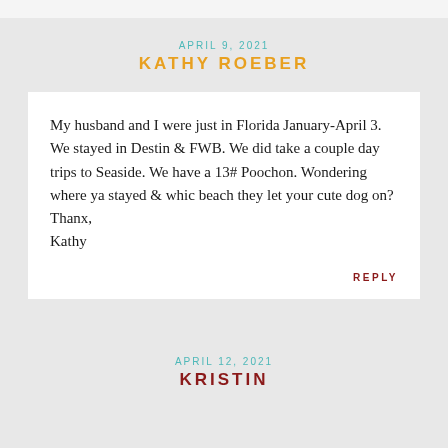APRIL 9, 2021
KATHY ROEBER
My husband and I were just in Florida January-April 3. We stayed in Destin & FWB. We did take a couple day trips to Seaside. We have a 13# Poochon. Wondering where ya stayed & whic beach they let your cute dog on?
Thanx,
Kathy
REPLY
APRIL 12, 2021
KRISTIN